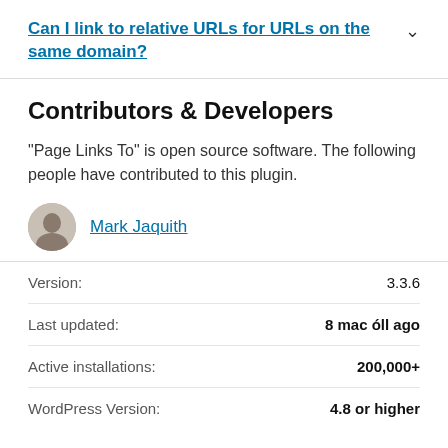Can I link to relative URLs for URLs on the same domain?
Contributors & Developers
“Page Links To” is open source software. The following people have contributed to this plugin.
Mark Jaquith
|  |  |
| --- | --- |
| Version: | 3.3.6 |
| Last updated: | 8 mac óll ago |
| Active installations: | 200,000+ |
| WordPress Version: | 4.8 or higher |